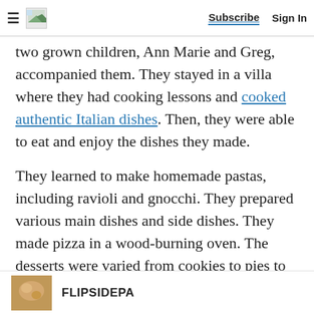Subscribe  Sign In
two grown children, Ann Marie and Greg, accompanied them. They stayed in a villa where they had cooking lessons and cooked authentic Italian dishes. Then, they were able to eat and enjoy the dishes they made.
They learned to make homemade pastas, including ravioli and gnocchi. They prepared various main dishes and side dishes. They made pizza in a wood-burning oven. The desserts were varied from cookies to pies to cakes. Robert Lenza said his favorite dessert was a chocolate roll with cream.
FLIPSIDEPA